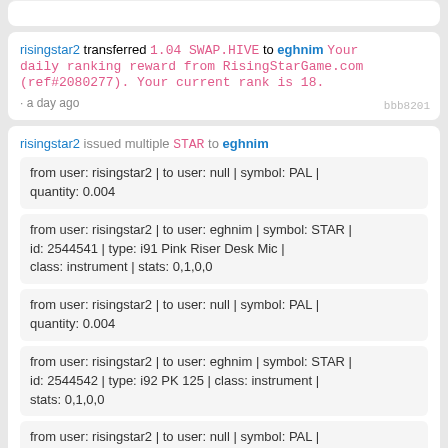risingstar2 transferred 1.04 SWAP.HIVE to eghnim Your daily ranking reward from RisingStarGame.com (ref#2080277). Your current rank is 18. bbb8201 · a day ago
risingstar2 issued multiple STAR to eghnim
from user: risingstar2 | to user: null | symbol: PAL | quantity: 0.004
from user: risingstar2 | to user: eghnim | symbol: STAR | id: 2544541 | type: i91 Pink Riser Desk Mic | class: instrument | stats: 0,1,0,0
from user: risingstar2 | to user: null | symbol: PAL | quantity: 0.004
from user: risingstar2 | to user: eghnim | symbol: STAR | id: 2544542 | type: i92 PK 125 | class: instrument | stats: 0,1,0,0
from user: risingstar2 | to user: null | symbol: PAL | quantity: 0.004
from user: risingstar2 | to user: eghnim | symbol: STAR | id: 2544543 | type: R213 SA Cream Mic | class: instrument | stats: 0,50,0,0
28dd3e1 · 2 days ago